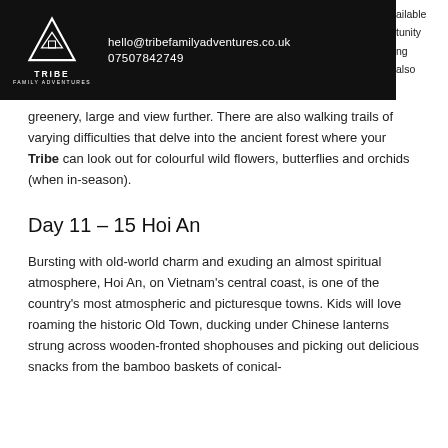hello@tribefamilyadventures.co.uk  07507842749
greenery, large and view further. There are also walking trails of varying difficulties that delve into the ancient forest where your Tribe can look out for colourful wild flowers, butterflies and orchids (when in-season).
Day 11 – 15 Hoi An
Bursting with old-world charm and exuding an almost spiritual atmosphere, Hoi An, on Vietnam's central coast, is one of the country's most atmospheric and picturesque towns. Kids will love roaming the historic Old Town, ducking under Chinese lanterns strung across wooden-fronted shophouses and picking out delicious snacks from the bamboo baskets of conical-